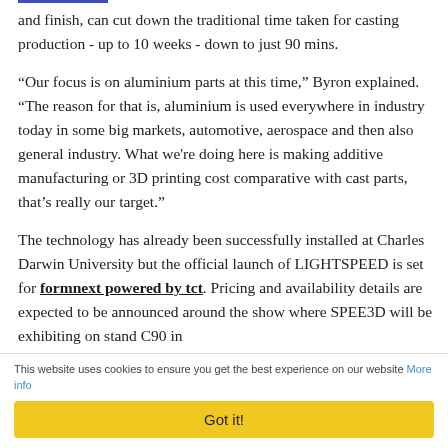and finish, can cut down the traditional time taken for casting production - up to 10 weeks - down to just 90 mins.
“Our focus is on aluminium parts at this time,” Byron explained. “The reason for that is, aluminium is used everywhere in industry today in some big markets, automotive, aerospace and then also general industry. What we're doing here is making additive manufacturing or 3D printing cost comparative with cast parts, that’s really our target.”
The technology has already been successfully installed at Charles Darwin University but the official launch of LIGHTSPEED is set for formnext powered by tct. Pricing and availability details are expected to be announced around the show where SPEE3D will be exhibiting on stand C90 in
This website uses cookies to ensure you get the best experience on our website More info